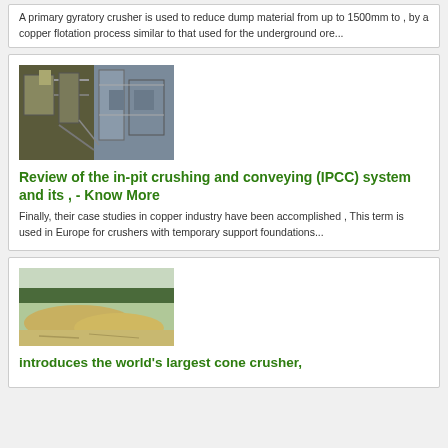A primary gyratory crusher is used to reduce dump material from up to 1500mm to , by a copper flotation process similar to that used for the underground ore...
[Figure (photo): Industrial crushing and conveying machinery, showing metal structures, pipes and equipment in a processing facility]
Review of the in-pit crushing and conveying (IPCC) system and its , - Know More
Finally, their case studies in copper industry have been accomplished , This term is used in Europe for crushers with temporary support foundations...
[Figure (photo): Outdoor quarry or mining site showing a large open area with mounded earth/rock material and trees in the background]
introduces the world's largest cone crusher,